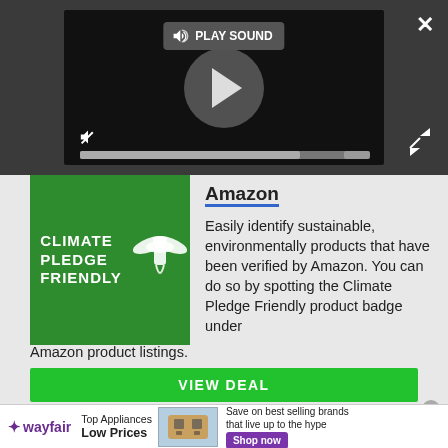[Figure (screenshot): Video player UI with dark background, play button circle in center, speaker/mute icons, PLAY SOUND button, progress bar, close X button, and expand icon]
[Figure (logo): Amazon Climate Pledge Friendly green badge with hourglass and wings logo]
Amazon
Easily identify sustainable, environmentally products that have been verified by Amazon. You can do so by spotting the Climate Pledge Friendly product badge under Amazon product listings.
VIEW DEAL
[Figure (screenshot): Wayfair advertisement banner: Top Appliances Low Prices, image of appliance, Save on best selling brands that live up to the hype, Shop now button]